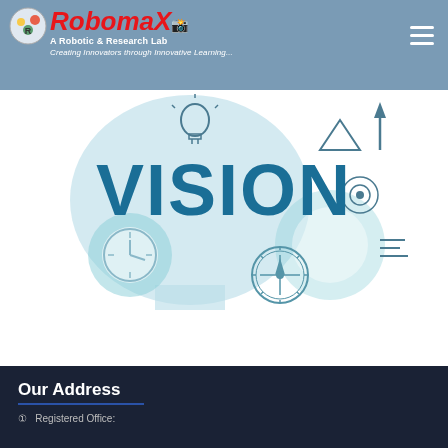RobomaX — A Robotic & Research Lab. Creating Innovators through Innovative Learning...
[Figure (illustration): VISION infographic with large bold blue text 'VISION' surrounded by icons: light bulb, gears, compass, clock, arrows, human head silhouette — all in shades of blue/teal on white background]
Our Address
Registered Office: